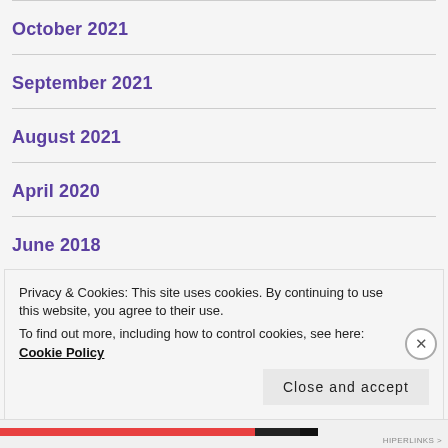October 2021
September 2021
August 2021
April 2020
June 2018
Privacy & Cookies: This site uses cookies. By continuing to use this website, you agree to their use.
To find out more, including how to control cookies, see here: Cookie Policy
Close and accept